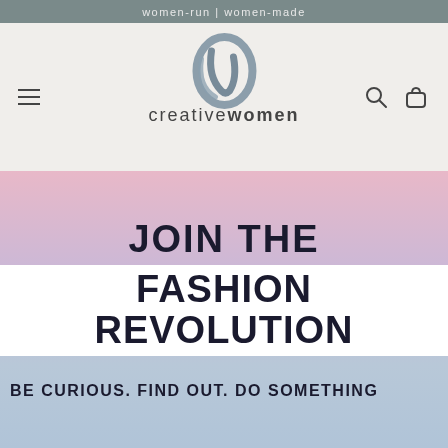women-run | women-made
[Figure (logo): Creative Women brand logo with stylized 'w' lettermark and text 'creativewomen' with hamburger menu, search icon, and bag icon]
JOIN THE FASHION REVOLUTION
BE CURIOUS. FIND OUT. DO SOMETHING